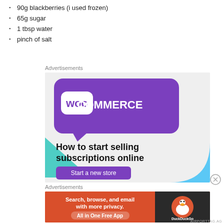90g blackberries (i used frozen)
65g sugar
1 tbsp water
pinch of salt
Advertisements
[Figure (illustration): WooCommerce advertisement: purple speech-bubble logo with 'WOO COMMERCE' text, teal triangle bottom-left, blue arc bottom-right on light grey background. Text: 'How to start selling subscriptions online'. Button: 'Start a new store'.]
Advertisements
[Figure (illustration): DuckDuckGo advertisement on orange background: 'Search, browse, and email with more privacy. All in One Free App' with DuckDuckGo duck logo on dark background right side.]